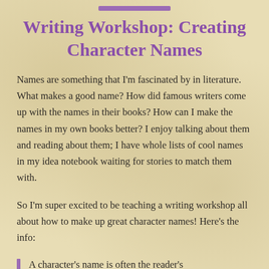Writing Workshop: Creating Character Names
Names are something that I'm fascinated by in literature. What makes a good name? How did famous writers come up with the names in their books? How can I make the names in my own books better? I enjoy talking about them and reading about them; I have whole lists of cool names in my idea notebook waiting for stories to match them with.
So I'm super excited to be teaching a writing workshop all about how to make up great character names! Here's the info:
A character's name is often the reader's